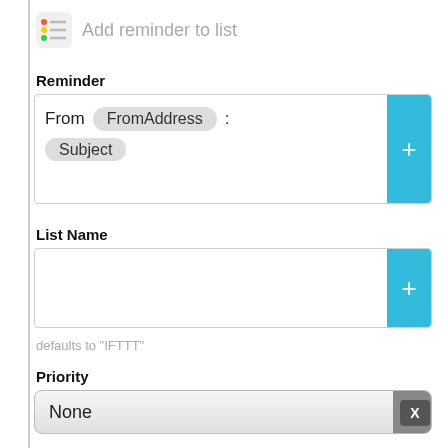Add reminder to list
Reminder
[Figure (screenshot): Reminder input box showing 'From FromAddress : Subject' with a blue + button]
List Name
[Figure (screenshot): Empty list name input box with a blue + button]
defaults to "IFTTT"
Priority
[Figure (screenshot): Priority dropdown showing 'None' with grey arrow button]
X